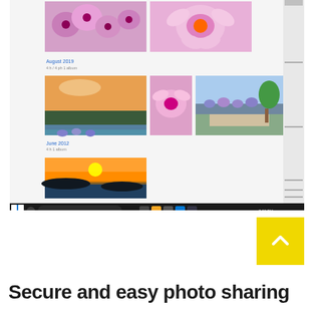[Figure (screenshot): Screenshot of a photo gallery application showing multiple flower and landscape photos arranged in a grid, with a Windows 10 taskbar at the bottom of the screen.]
[Figure (other): Yellow scroll-to-top button with a white upward-pointing chevron/caret icon.]
Secure and easy photo sharing